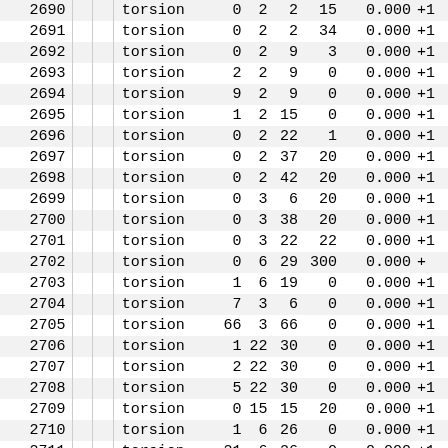| # |  |  | type | n1 | n2 | n3 | n4 | value | sign |
| --- | --- | --- | --- | --- | --- | --- | --- | --- | --- |
| 2690 |  |  | torsion | 0 | 2 | 2 | 15 | 0.000 | +1 |
| 2691 |  |  | torsion | 0 | 2 | 2 | 34 | 0.000 | +1 |
| 2692 |  |  | torsion | 0 | 2 | 9 | 3 | 0.000 | +1 |
| 2693 |  |  | torsion | 2 | 2 | 9 | 0 | 0.000 | +1 |
| 2694 |  |  | torsion | 9 | 2 | 9 | 0 | 0.000 | +1 |
| 2695 |  |  | torsion | 1 | 2 | 15 | 0 | 0.000 | +1 |
| 2696 |  |  | torsion | 0 | 2 | 22 | 1 | 0.000 | +1 |
| 2697 |  |  | torsion | 0 | 2 | 37 | 20 | 0.000 | +1 |
| 2698 |  |  | torsion | 0 | 2 | 42 | 20 | 0.000 | +1 |
| 2699 |  |  | torsion | 0 | 3 | 6 | 20 | 0.000 | +1 |
| 2700 |  |  | torsion | 0 | 3 | 38 | 20 | 0.000 | +1 |
| 2701 |  |  | torsion | 0 | 3 | 22 | 22 | 0.000 | +1 |
| 2702 |  |  | torsion | 0 | 6 | 29 | 300 | 0.000 | + |
| 2703 |  |  | torsion | 1 | 6 | 19 | 0 | 0.000 | +1 |
| 2704 |  |  | torsion | 7 | 3 | 6 | 0 | 0.000 | +1 |
| 2705 |  |  | torsion | 66 | 3 | 66 | 0 | 0.000 | +1 |
| 2706 |  |  | torsion | 1 | 22 | 30 | 0 | 0.000 | +1 |
| 2707 |  |  | torsion | 2 | 22 | 30 | 0 | 0.000 | +1 |
| 2708 |  |  | torsion | 5 | 22 | 30 | 0 | 0.000 | +1 |
| 2709 |  |  | torsion | 0 | 15 | 15 | 20 | 0.000 | +1 |
| 2710 |  |  | torsion | 1 | 6 | 26 | 0 | 0.000 | +1 |
| 2711 |  |  | torsion | 21 | 6 | 26 | 0 | 0.000 | +1 |
| 2712 |  |  | torsion | 20 | 7 | 19 | 0 | 0.000 | +1 |